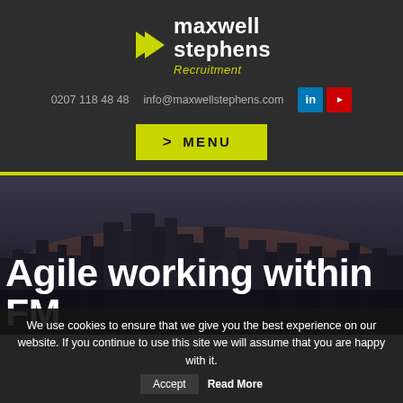[Figure (logo): Maxwell Stephens Recruitment logo with yellow chevron and white/yellow text]
0207 118 48 48   info@maxwellstephens.com
[Figure (other): LinkedIn and YouTube social media icons]
> MENU
[Figure (photo): Dark cityscape/skyline background photo]
Agile working within FM
We use cookies to ensure that we give you the best experience on our website. If you continue to use this site we will assume that you are happy with it.
Accept   Read More